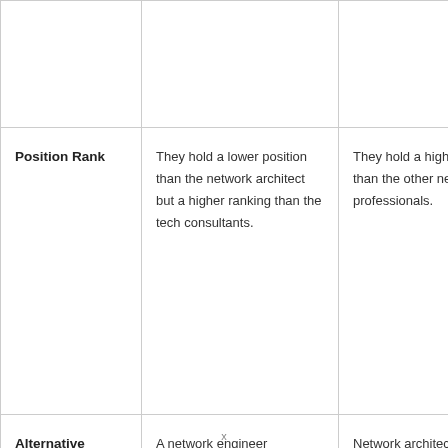|  |  |  |
| Position Rank | They hold a lower position than the network architect but a higher ranking than the tech consultants. | They hold a higher position than the other network professionals. |
| Alternative | A network engineer | Network architects can be the alternative |
x